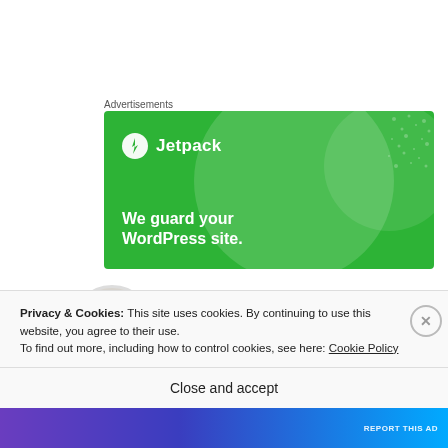Advertisements
[Figure (illustration): Jetpack advertisement banner on green background with circular design elements, showing Jetpack logo and text 'We guard your WordPress site.']
[Figure (photo): Circular avatar photo of a person named Rachel, partially visible at the bottom of the page]
Rachel
Privacy & Cookies: This site uses cookies. By continuing to use this website, you agree to their use.
To find out more, including how to control cookies, see here: Cookie Policy
Close and accept